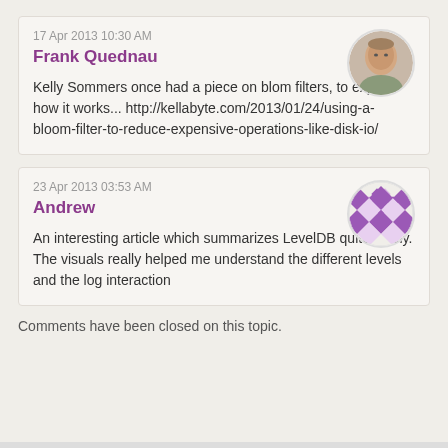17 Apr 2013 10:30 AM
Frank Quednau
Kelly Sommers once had a piece on blom filters, to explain how it works... http://kellabyte.com/2013/01/24/using-a-bloom-filter-to-reduce-expensive-operations-like-disk-io/
[Figure (photo): Avatar photo of Frank Quednau, a bald man]
23 Apr 2013 03:53 AM
Andrew
An interesting article which summarizes LevelDB quite nicely. The visuals really helped me understand the different levels and the log interaction
[Figure (illustration): Generic avatar with purple diamond/checkerboard pattern]
Comments have been closed on this topic.